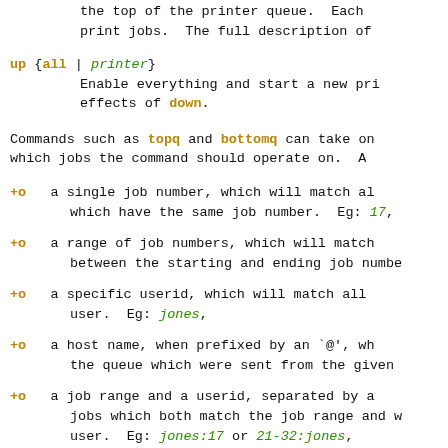the top of the printer queue.  Each print jobs.  The full description of
up {all | printer}
    Enable everything and start a new pri effects of down.
Commands such as topq and bottomq can take on which jobs the command should operate on.  A
+o   a single job number, which will match al which have the same job number.  Eg: 17,
+o   a range of job numbers, which will match between the starting and ending job numbe
+o   a specific userid, which will match all user.  Eg: jones,
+o   a host name, when prefixed by an `@', wh the queue which were sent from the given
+o   a job range and a userid, separated by a jobs which both match the job range and w user.  Eg: jones:17 or 21-32:jones,
+o   a job range and/or a userid, followed by match all jobs which match all the specif